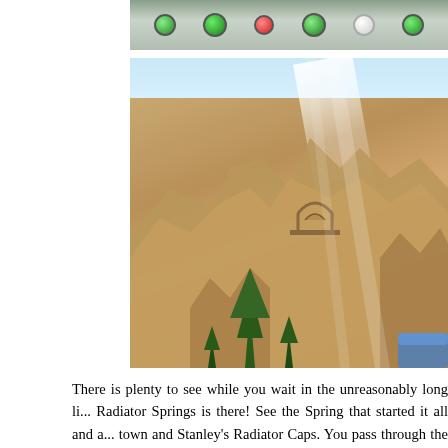[Figure (photo): Top portion of a themed attraction area showing colored signal/decoration lights (green, red, white) on a gray ceiling or panel]
[Figure (photo): Rocky canyon landscape with tall sandstone formations, pine trees, a stone arch bridge in the background, bright sun glare from upper center, and a hint of blue water ride vehicle at lower right — Radiator Springs Racers queue area at Disney California Adventure]
There is plenty to see while you wait in the unreasonably long li... Radiator Springs is there! See the Spring that started it all and a... town and Stanley's Radiator Caps. You pass through the bottle s... bottles. It's pretty cool! Once you make it to the ride, you fina...